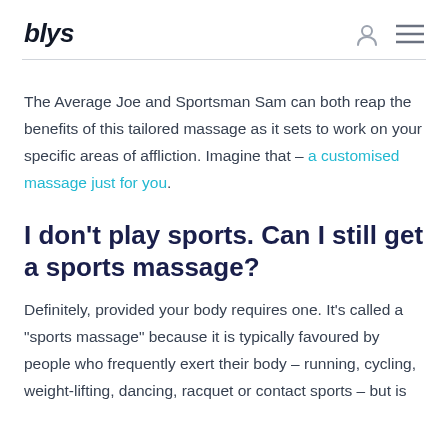blys
The Average Joe and Sportsman Sam can both reap the benefits of this tailored massage as it sets to work on your specific areas of affliction. Imagine that – a customised massage just for you.
I don't play sports. Can I still get a sports massage?
Definitely, provided your body requires one. It's called a "sports massage" because it is typically favoured by people who frequently exert their body – running, cycling, weight-lifting, dancing, racquet or contact sports – but is